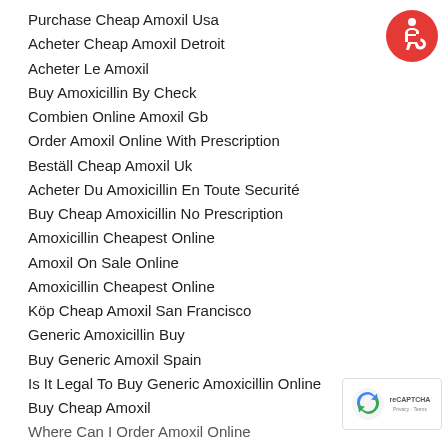Purchase Cheap Amoxil Usa
Acheter Cheap Amoxil Detroit
Acheter Le Amoxil
Buy Amoxicillin By Check
Combien Online Amoxil Gb
Order Amoxil Online With Prescription
Beställ Cheap Amoxil Uk
Acheter Du Amoxicillin En Toute Securité
Buy Cheap Amoxicillin No Prescription
Amoxicillin Cheapest Online
Amoxil On Sale Online
Amoxicillin Cheapest Online
Köp Cheap Amoxil San Francisco
Generic Amoxicillin Buy
Buy Generic Amoxil Spain
Is It Legal To Buy Generic Amoxicillin Online
Buy Cheap Amoxil
Where Can I Order Amoxil Online
[Figure (logo): Red circular accessibility icon with white wheelchair user symbol]
[Figure (logo): Google reCAPTCHA badge with blue arrow icon and Privacy/Terms text]